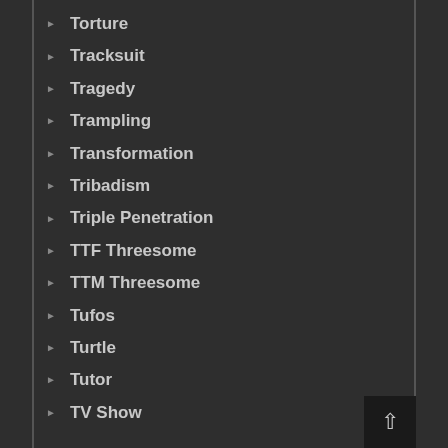Torture
Tracksuit
Tragedy
Trampling
Transformation
Tribadism
Triple Penetration
TTF Threesome
TTM Threesome
Tufos
Turtle
Tutor
TV Show